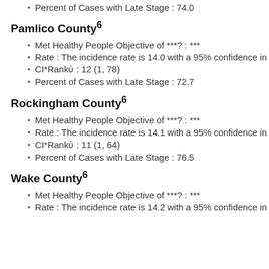Percent of Cases with Late Stage : 74.0
Pamlico County⁶
Met Healthy People Objective of ***? : ***
Rate : The incidence rate is 14.0 with a 95% confidence in
CI*Rank⋕ : 12 (1, 78)
Percent of Cases with Late Stage : 72.7
Rockingham County⁶
Met Healthy People Objective of ***? : ***
Rate : The incidence rate is 14.1 with a 95% confidence in
CI*Rank⋕ : 11 (1, 64)
Percent of Cases with Late Stage : 76.5
Wake County⁶
Met Healthy People Objective of ***? : ***
Rate : The incidence rate is 14.2 with a 95% confidence in